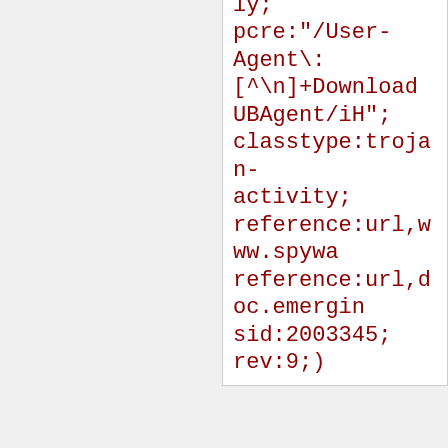(msg: ET USER_AGENTS Download UBAgent User Agent - lop.com and other spyware"; flow:to_server,established; content:"Download UBAgent"; http_header; fast_pattern:only; pcre:"/User-Agent\:[^\n]+Download UBAgent/iH"; classtype:trojan-activity; reference:url,www.spywar reference:url,doc.emergin sid:2003345; rev:9;)
Added 2011-09-14 22:26:15 UTC